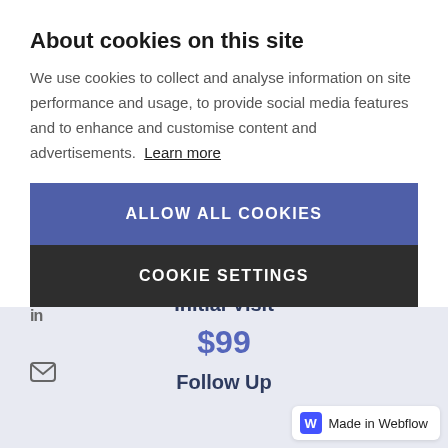About cookies on this site
We use cookies to collect and analyse information on site performance and usage, to provide social media features and to enhance and customise content and advertisements. Learn more
ALLOW ALL COOKIES
COOKIE SETTINGS
$240
Initial Visit
$99
Follow Up
Made in Webflow